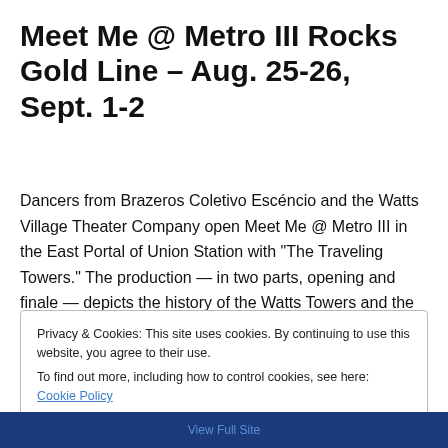Meet Me @ Metro III Rocks Gold Line – Aug. 25-26, Sept. 1-2
Dancers from Brazeros Coletivo Escéncio and the Watts Village Theater Company open Meet Me @ Metro III in the East Portal of Union Station with “The Traveling Towers.” The production — in two parts, opening and finale — depicts the history of the Watts Towers and the community, from … Continue reading →
Privacy & Cookies: This site uses cookies. By continuing to use this website, you agree to their use.
To find out more, including how to control cookies, see here: Cookie Policy
View Full Site